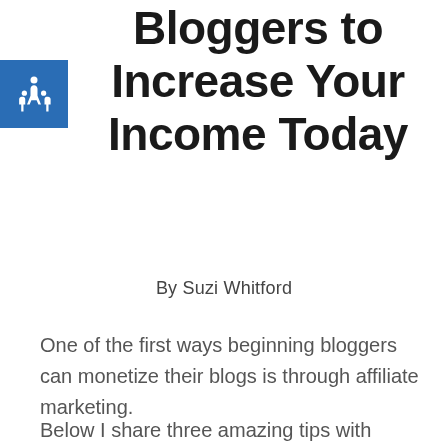Bloggers to Increase Your Income Today
By Suzi Whitford
One of the first ways beginning bloggers can monetize their blogs is through affiliate marketing.
Below I share three amazing tips with examples and additional resources how